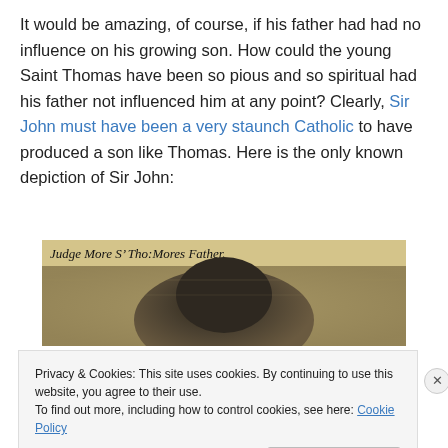It would be amazing, of course, if his father had had no influence on his growing son. How could the young Saint Thomas have been so pious and so spiritual had his father not influenced him at any point? Clearly, Sir John must have been a very staunch Catholic to have produced a son like Thomas. Here is the only known depiction of Sir John:
[Figure (photo): A historical portrait painting with italic label text reading 'Judge More S' Tho: More's Father.' at the top, showing a partial depiction of Sir John More in dark clothing against a stone/parchment background.]
Privacy & Cookies: This site uses cookies. By continuing to use this website, you agree to their use.
To find out more, including how to control cookies, see here: Cookie Policy
Close and accept